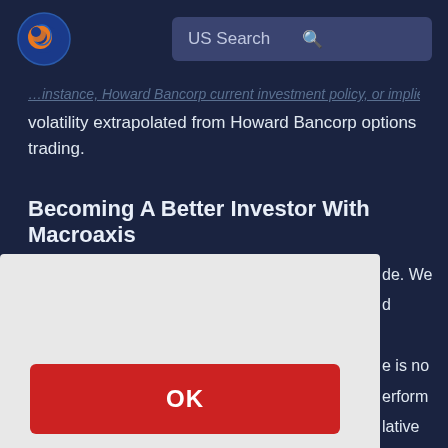[Figure (logo): Macroaxis logo - globe with orange and blue colors]
US Search
volatility extrapolated from Howard Bancorp options trading.
Becoming A Better Investor With Macroaxis
By using Macroaxis, you are agreeing to our revised Privacy Policy
OK
risk, expected return as well as over 100 different